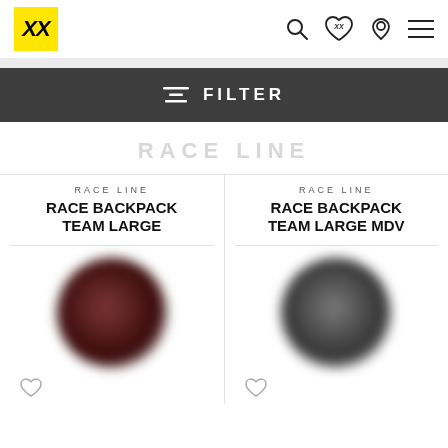XX logo, search, wishlist, location, menu
FILTER
RACE LINE
RACE LINE
RACE BACKPACK TEAM LARGE
RACE LINE
RACE BACKPACK TEAM LARGE MDV
[Figure (photo): Blurred circular product image - dark reddish backpack]
[Figure (photo): Blurred circular product image - dark grey backpack]